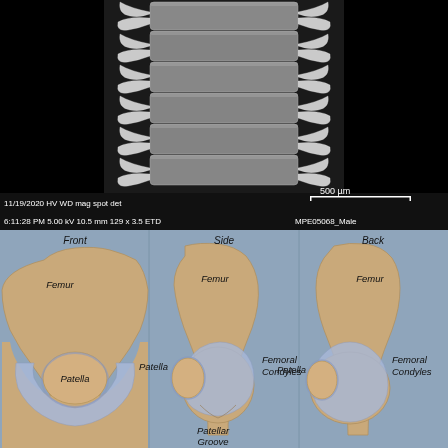[Figure (photo): Scanning electron microscope (SEM) image of an insect body segment showing rows of hooked bristles/spines arranged symmetrically down a segmented exoskeleton. Black background. Metadata overlay: 11/19/2020 6:11:28 PM, HV 5.00 kV, WD 10.5 mm, mag 129x, spot 3.5, det ETD, scale bar 500 µm, specimen ID MPE05068_Male.]
[Figure (illustration): Medical illustration showing three views of a human knee joint (Front, Side, Back) with labeled anatomical structures: Femur, Patella, Femoral Condyles, Patellar Groove. The knee is shown with bone and cartilage (blue/lavender color) visible. Blue-gray background.]